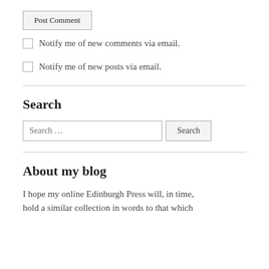Post Comment (button)
Notify me of new comments via email.
Notify me of new posts via email.
Search
Search … (input) Search (button)
About my blog
I hope my online Edinburgh Press will, in time, hold a similar collection in words to that which